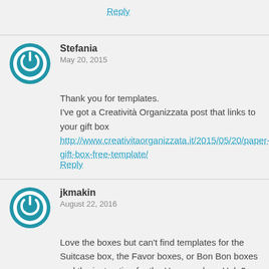Reply
Stefania
May 20, 2015
Thank you for templates.
I've got a Creatività Organizzata post that links to your gift box
http://www.creativitaorganizzata.it/2015/05/20/paper-gift-box-free-template/
Reply
jkmakin
August 22, 2016
Love the boxes but can't find templates for the Suitcase box, the Favor boxes, or Bon Bon boxes and the instruction for the Hexagon box. Help?